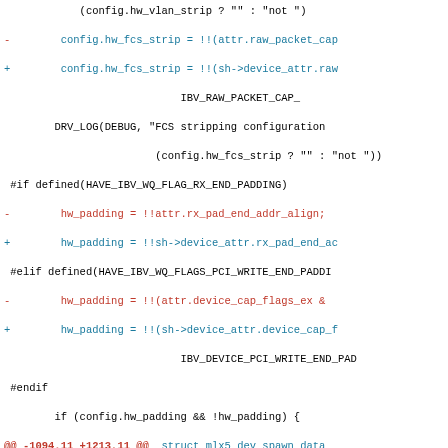[Figure (screenshot): Code diff showing changes in a Linux kernel or RDMA driver source file, with removed lines in red and added lines in teal/cyan, and hunk headers in red/teal.]